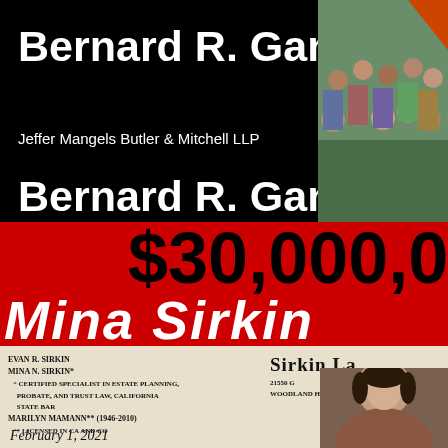Bernard R. Gans
Jeffer Mangels Butler & Mitchell LLP
Bernard R. Gans
$30,000,000.0
Mina Sirkin
EVAN R. SIRKIN
MINA N. SIRKIN*
* CERTIFIED SPECIALIST IN ESTATE PLANNING, PROBATE, AND TRUST LAW, CALIFORNIA STATE BAR
MARILYN MAMANN** (1946-2010)
** LICENSED IN CA AND CO
TELEPHONE (818) 340-4479
SIRKIN LA
21550 G
WOODLAND HI
February 1, 2021
[Figure (photo): Group photo of approximately 15 people outdoors on grass]
[Figure (photo): Portrait photo of a woman, partially visible]